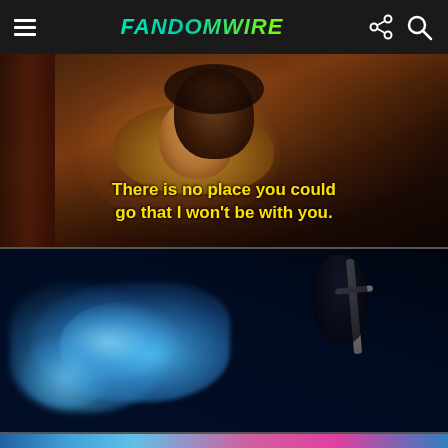FandomWire
[Figure (screenshot): Animated movie scene showing two characters facing each other closely in a warm, dimly lit setting with yellow subtitle text reading: There is no place you could go that I won't be with you.]
There is no place you could go that I won't be with you.
[Figure (screenshot): Dark animated movie scene with a blue magical glowing energy/spirit visible in the lower left against a very dark blue-black background, with a sword/figure silhouette in the upper area.]
[Figure (screenshot): Partial view of another animated scene showing colorful blue and pink/magenta tones at the very bottom of the page.]